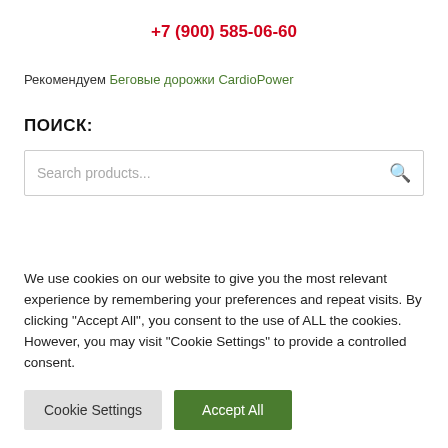+7 (900) 585-06-60
Рекомендуем Беговые дорожки CardioPower
ПОИСК:
[Figure (screenshot): Search input box with placeholder text 'Search products...' and a magnifying glass icon on the right]
We use cookies on our website to give you the most relevant experience by remembering your preferences and repeat visits. By clicking "Accept All", you consent to the use of ALL the cookies. However, you may visit "Cookie Settings" to provide a controlled consent.
Cookie Settings | Accept All